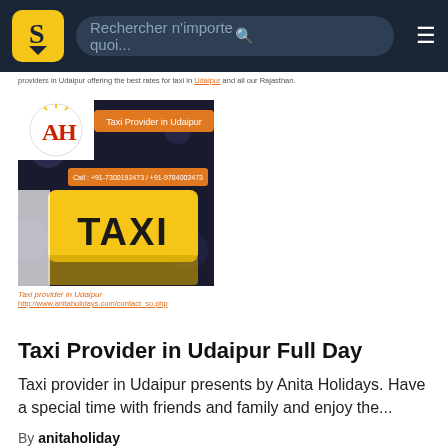Rechercher n'importe quoi...
providers in Udaipur offering the best rates for taxi in Udaipur and all our Rajasthan.
[Figure (photo): Taxi Provider in Udaipur promotional image showing a yellow taxi sign with Anita Holidays logo and contact numbers +91-7300192473 / +91-9784002473]
Taxi provider in Udaipur
http://www.anitaholidays.com/contact_so.php
Taxi Provider in Udaipur Full Day
Taxi provider in Udaipur presents by Anita Holidays. Have a special time with friends and family and enjoy the...
By anitaholiday
(317 views)